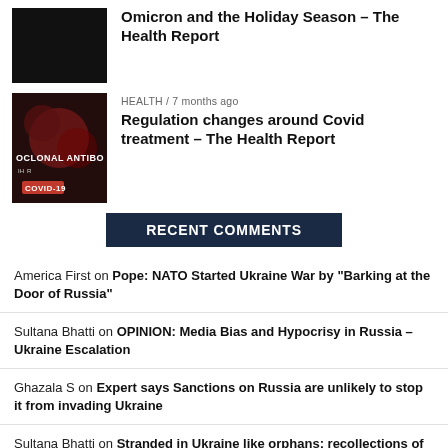[Figure (photo): Black thumbnail image for Omicron article]
Omicron and the Holiday Season – The Health Report
[Figure (photo): Monoclonal antibody / COVID-19 thumbnail image with red badge]
HEALTH / 7 months ago
Regulation changes around Covid treatment – The Health Report
RECENT COMMENTS
America First on Pope: NATO Started Ukraine War by "Barking at the Door of Russia"
Sultana Bhatti on OPINION: Media Bias and Hypocrisy in Russia – Ukraine Escalation
Ghazala S on Expert says Sanctions on Russia are unlikely to stop it from invading Ukraine
Sultana Bhatti on Stranded in Ukraine like orphans; recollections of a Pakistani student